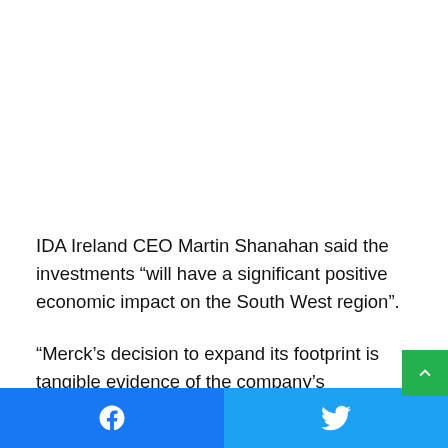IDA Ireland CEO Martin Shanahan said the investments “will have a significant positive economic impact on the South West region”.
“Merck’s decision to expand its footprint is tangible evidence of the company’s confidence in Ireland’s ability to provide access to world-class talent. I would like to assure the Merck team of
Facebook | Twitter